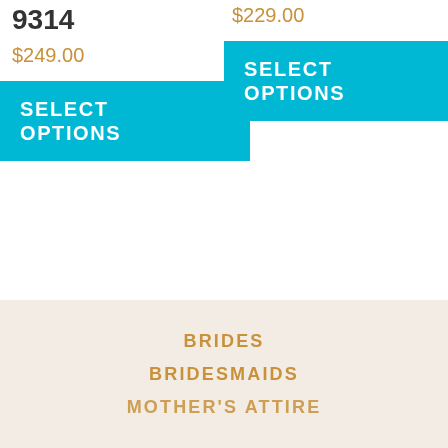9314
$249.00
SELECT OPTIONS
$229.00
SELECT OPTIONS
BRIDES
BRIDESMAIDS
MOTHER'S ATTIRE